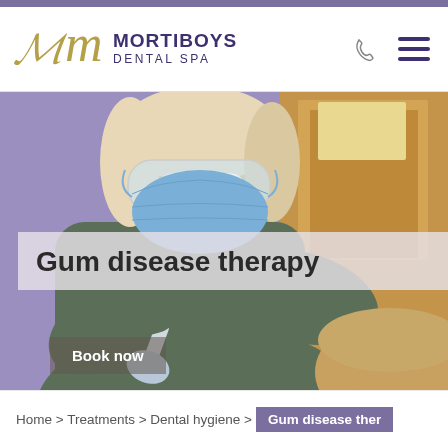[Figure (logo): Mortiboys Dental Spa logo with stylized M in gold and MORTIBOYS DENTAL SPA text in purple]
[Figure (photo): A dental hygienist or dentist wearing a blue face mask and protective goggles, in dark green scrubs, performing dental treatment on a patient. Purple wall visible in background along with a wooden door.]
Gum disease therapy
Book now
Home > Treatments > Dental hygiene > Gum disease ther